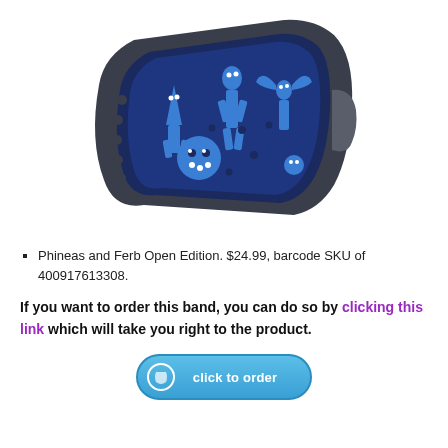[Figure (photo): A Disney MagicBand wristband with a dark navy/blue color featuring Phineas and Ferb character silhouettes printed on the band face. The band has a gray buckle/connector and holes along the strap.]
Phineas and Ferb Open Edition. $24.99, barcode SKU of 400917613308.
If you want to order this band, you can do so by clicking this link which will take you right to the product.
[Figure (screenshot): A blue rounded button with 'click to order' text and a Disney MagicBand logo icon on the left.]